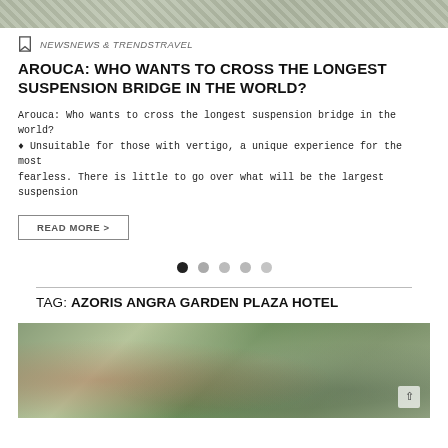[Figure (photo): Top portion of a photo showing a geometric structure or bridge, cropped at the top]
NEWSNEWS & TRENDSTRAVEL
AROUCA: WHO WANTS TO CROSS THE LONGEST SUSPENSION BRIDGE IN THE WORLD?
Arouca: Who wants to cross the longest suspension bridge in the world? ♦ Unsuitable for those with vertigo, a unique experience for the most fearless. There is little to go over what will be the largest suspension
READ MORE >
Pagination dots (1 active of 5)
TAG: AZORIS ANGRA GARDEN PLAZA HOTEL
[Figure (photo): Interior/outdoor photo of what appears to be a hotel lobby or terrace with tropical plants and modern furniture]